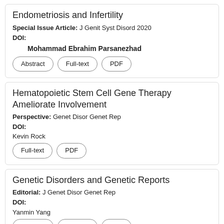Endometriosis and Infertility
Special Issue Article: J Genit Syst Disord 2020
DOI:
Mohammad Ebrahim Parsanezhad
Abstract | Full-text | PDF
Hematopoietic Stem Cell Gene Therapy Ameliorate Involvement
Perspective: Genet Disor Genet Rep
DOI:
Kevin Rock
Full-text | PDF
Genetic Disorders and Genetic Reports
Editorial: J Genet Disor Genet Rep
DOI:
Yanmin Yang
Abstract | Full-text | PDF